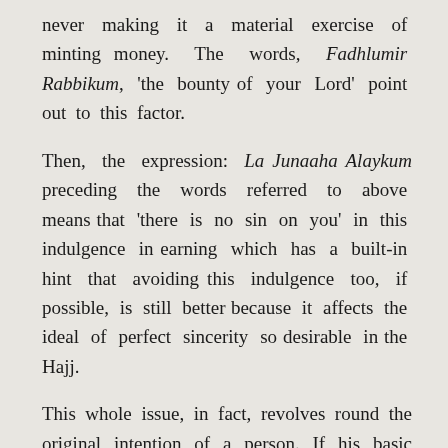never making it a material exercise of minting money. The words, Fadhlumir Rabbikum, 'the bounty of your Lord' point out to this factor.
Then, the expression: La Junaaha Alaykum preceding the words referred to above means that 'there is no sin on you' in this indulgence in earning which has a built-in hint that avoiding this indulgence too, if possible, is still better because it affects the ideal of perfect sincerity so desirable in the Hajj.
This whole issue, in fact, revolves round the original intention of a person. If his basic intention is to earn money through trading or employment but he has decided to perform the Hajj as an adjunct, or both the intentions are equally kept in mind, then, this is contrary to the